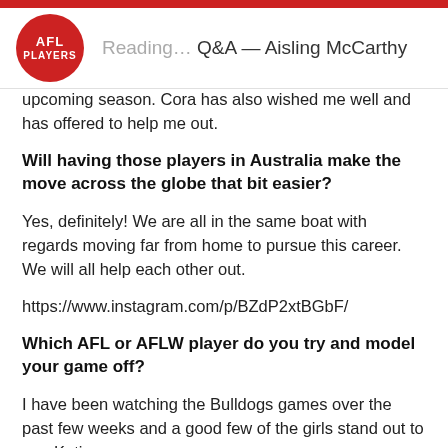Reading… Q&A — Aisling McCarthy
upcoming season. Cora has also wished me well and has offered to help me out.
Will having those players in Australia make the move across the globe that bit easier?
Yes, definitely! We are all in the same boat with regards moving far from home to pursue this career. We will all help each other out.
https://www.instagram.com/p/BZdP2xtBGbF/
Which AFL or AFLW player do you try and model your game off?
I have been watching the Bulldogs games over the past few weeks and a good few of the girls stand out to me. Katie